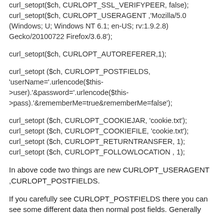curl_setopt($ch, CURLOPT_SSL_VERIFYPEER, false);
curl_setopt($ch, CURLOPT_USERAGENT ,'Mozilla/5.0 (Windows; U; Windows NT 6.1; en-US; rv:1.9.2.8) Gecko/20100722 Firefox/3.6.8');
curl_setopt($ch, CURLOPT_AUTOREFERER,1);
curl_setopt ($ch, CURLOPT_POSTFIELDS, 'userName='.urlencode($this->user).'&password='.urlencode($this->pass).'&rememberMe=true&rememberMe=false');
curl_setopt ($ch, CURLOPT_COOKIEJAR, 'cookie.txt');
curl_setopt ($ch, CURLOPT_COOKIEFILE, 'cookie.txt');
curl_setopt ($ch, CURLOPT_RETURNTRANSFER, 1);
curl_setopt ($ch, CURLOPT_FOLLOWLOCATION , 1);
In above code two things are new CURLOPT_USERAGENT ,CURLOPT_POSTFIELDS.
If you carefully see CURLOPT_POSTFIELDS there you can see some different data then normal post fields. Generally